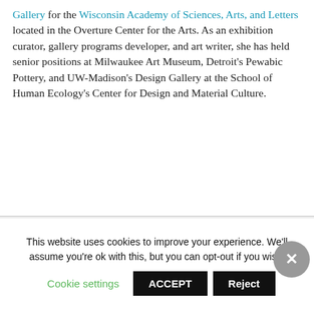Gallery for the Wisconsin Academy of Sciences, Arts, and Letters located in the Overture Center for the Arts. As an exhibition curator, gallery programs developer, and art writer, she has held senior positions at Milwaukee Art Museum, Detroit's Pewabic Pottery, and UW-Madison's Design Gallery at the School of Human Ecology's Center for Design and Material Culture.
Image: detail of installation case within the exhibition Collections and Connections: 150 Years of the Wisconsin Academy. Image appears courtesy of the James Watrous Gallery. According to Clowes, the exhibition will reopen as soon as public health concerns permit.
This website uses cookies to improve your experience. We'll assume you're ok with this, but you can opt-out if you wish. Cookie settings ACCEPT Reject